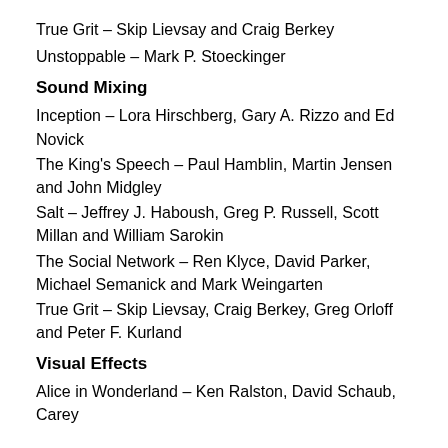True Grit – Skip Lievsay and Craig Berkey
Unstoppable – Mark P. Stoeckinger
Sound Mixing
Inception – Lora Hirschberg, Gary A. Rizzo and Ed Novick
The King's Speech – Paul Hamblin, Martin Jensen and John Midgley
Salt – Jeffrey J. Haboush, Greg P. Russell, Scott Millan and William Sarokin
The Social Network – Ren Klyce, David Parker, Michael Semanick and Mark Weingarten
True Grit – Skip Lievsay, Craig Berkey, Greg Orloff and Peter F. Kurland
Visual Effects
Alice in Wonderland – Ken Ralston, David Schaub, Carey